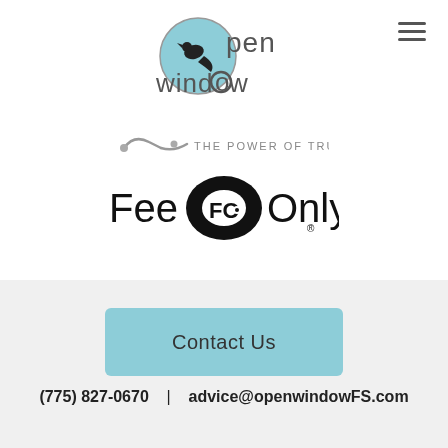[Figure (logo): Open Window financial services logo with bird silhouette in teal circle and text 'Open Window']
[Figure (logo): NAPFA 'The Power of Trust' logo with infinity/swoosh symbol in gray]
[Figure (logo): Fee Only registered trademark logo with FO monogram in black circle]
Contact Us
(775) 827-0670   |   advice@openwindowFS.com